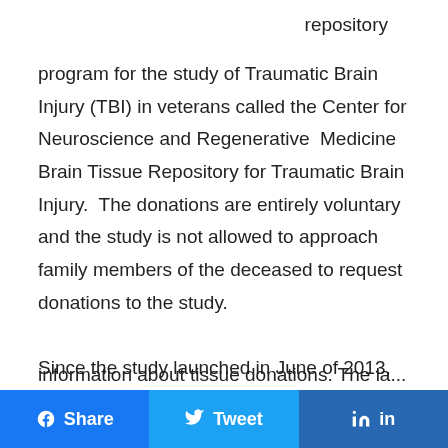repository program for the study of Traumatic Brain Injury (TBI) in veterans called the Center for Neuroscience and Regenerative Medicine Brain Tissue Repository for Traumatic Brain Injury. The donations are entirely voluntary and the study is not allowed to approach family members of the deceased to request donations to the study.

Since the study launched in June of 2013, the program has received numerous requests for information about tissue donations. The la...
Share on Facebook | Share on Twitter | Share on LinkedIn